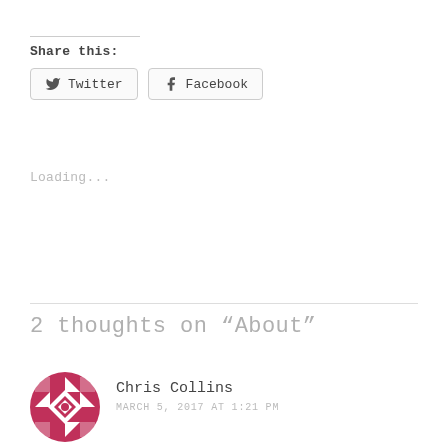Share this:
Twitter  Facebook
Loading...
2 thoughts on “About”
Chris Collins
MARCH 5, 2017 AT 1:21 PM